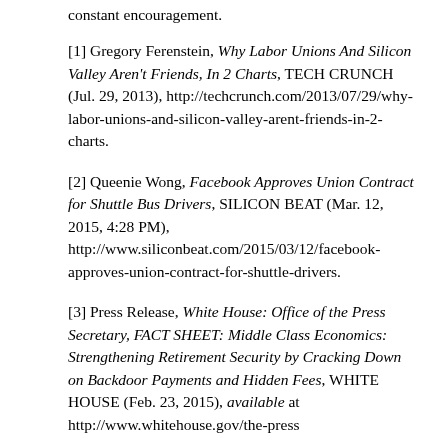constant encouragement.
[1] Gregory Ferenstein, Why Labor Unions And Silicon Valley Aren't Friends, In 2 Charts, TECH CRUNCH (Jul. 29, 2013), http://techcrunch.com/2013/07/29/why-labor-unions-and-silicon-valley-arent-friends-in-2-charts.
[2] Queenie Wong, Facebook Approves Union Contract for Shuttle Bus Drivers, SILICON BEAT (Mar. 12, 2015, 4:28 PM), http://www.siliconbeat.com/2015/03/12/facebook-approves-union-contract-for-shuttle-drivers.
[3] Press Release, White House: Office of the Press Secretary, FACT SHEET: Middle Class Economics: Strengthening Retirement Security by Cracking Down on Backdoor Payments and Hidden Fees, WHITE HOUSE (Feb. 23, 2015), available at https://www.whitehouse.gov/the-press